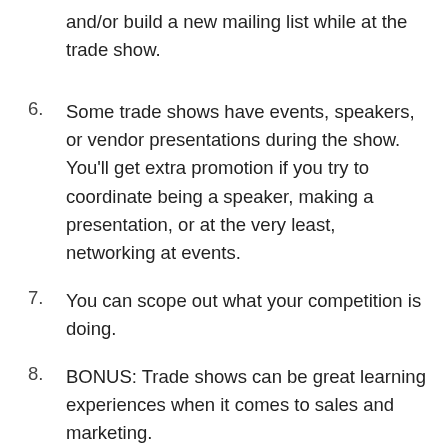and/or build a new mailing list while at the trade show.
6. Some trade shows have events, speakers, or vendor presentations during the show. You'll get extra promotion if you try to coordinate being a speaker, making a presentation, or at the very least, networking at events.
7. You can scope out what your competition is doing.
8. BONUS: Trade shows can be great learning experiences when it comes to sales and marketing.